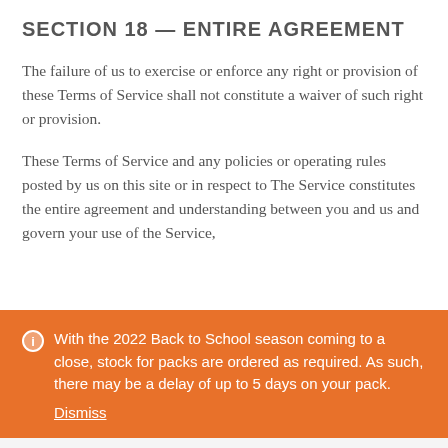SECTION 18 — ENTIRE AGREEMENT
The failure of us to exercise or enforce any right or provision of these Terms of Service shall not constitute a waiver of such right or provision.
These Terms of Service and any policies or operating rules posted by us on this site or in respect to The Service constitutes the entire agreement and understanding between you and us and govern your use of the Service,
With the 2022 Back to School season coming to a close, stock for packs are ordered as required. As such, there may be a delay of up to 5 days on your pack. Dismiss
[Figure (other): Shopping cart icon with orange badge showing 0]